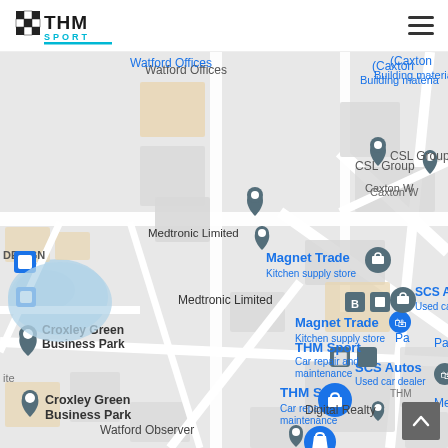THM Sport logo and navigation menu
[Figure (map): Google Maps screenshot showing Croxley Green Business Park area near Watford, UK. Visible locations include: THM Sport (Car repair and maintenance), Medtronic Limited, CSL Group, Watford Offices, Magnet Trade (Kitchen supply store), SCS Autos (Used car dealer), Croxley Green Business Park, Watford Observer, St Albans & Harpenden Review, Digital Realty, Dendron, Prism Power Group, and partial labels for Caxton W... and Building materia... and Pa... and Me... The map shows roads, building outlines, a blue lake/pond, and various Google Maps pins.]